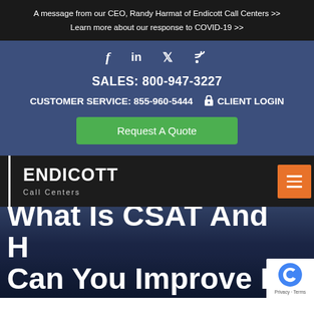A message from our CEO, Randy Harmat of Endicott Call Centers >>
Learn more about our response to COVID-19 >>
Social icons: Facebook, LinkedIn, Twitter, RSS
SALES: 800-947-3227
CUSTOMER SERVICE: 855-960-5444    CLIENT LOGIN
Request A Quote
ENDICOTT Call Centers
What Is CSAT And H... Can You Improve It...